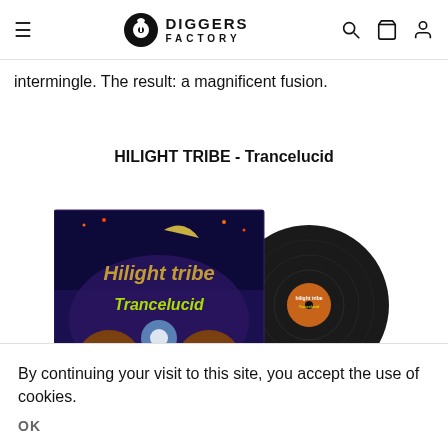Diggers Factory navigation header with hamburger menu, logo, search, cart, and account icons
intermingle. The result: a magnificent fusion.
HILIGHT TRIBE - Trancelucid
[Figure (photo): Album cover of Hilight Tribe - Trancelucid showing psychedelic artwork with the band name and album title, alongside a black vinyl record with a label sticker]
By continuing your visit to this site, you accept the use of cookies.
OK